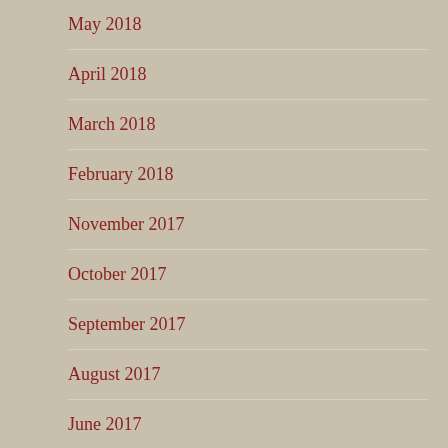May 2018
April 2018
March 2018
February 2018
November 2017
October 2017
September 2017
August 2017
June 2017